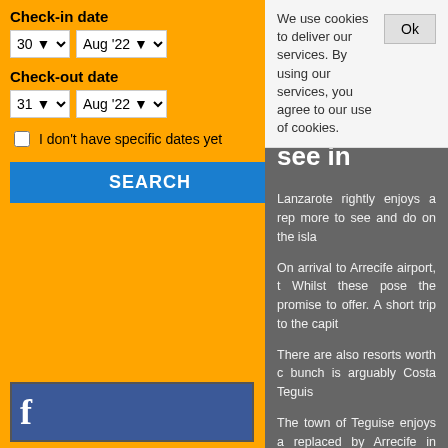Check-in date
30 | Aug '22
Check-out date
31 | Aug '22
I don't have specific dates yet
SEARCH
[Figure (advertisement): Worldwide Car Hire Price Comparison advertisement with blue sky, ocean, road and silver car]
[Figure (screenshot): Partial Facebook banner visible at bottom left]
We use cookies to deliver our services. By using our services, you agree to our use of cookies.
Places to see in
Lanzarote rightly enjoys a rep more to see and do on the isla
On arrival to Arrecife airport, t Whilst these pose the promise to offer. A short trip to the capit
There are also resorts worth c bunch is arguably Costa Teguis
The town of Teguise enjoys a replaced by Arrecife in 1852. metamorphoses into a giant m
Other settlements worth a visit voted the prettiest village in S Then there's Orzola, the northe
Orzola is also a gateway to